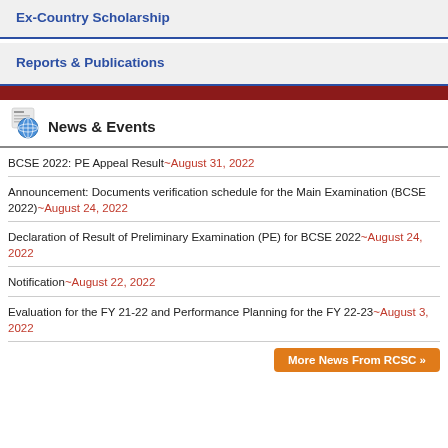Ex-Country Scholarship
Reports & Publications
[Figure (other): News and Events section icon with globe and newspaper]
News & Events
BCSE 2022: PE Appeal Result~August 31, 2022
Announcement: Documents verification schedule for the Main Examination (BCSE 2022)~August 24, 2022
Declaration of Result of Preliminary Examination (PE) for BCSE 2022~August 24, 2022
Notification~August 22, 2022
Evaluation for the FY 21-22 and Performance Planning for the FY 22-23~August 3, 2022
More News From RCSC »